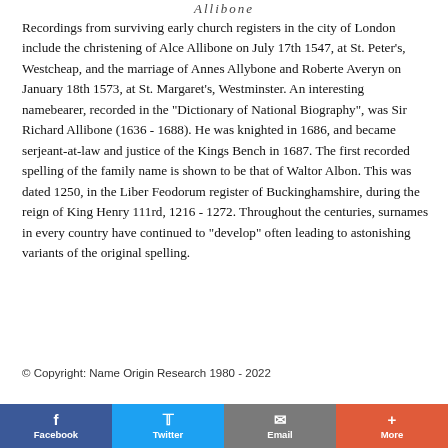[Figure (logo): Decorative cursive logo/banner at the top of the page]
Recordings from surviving early church registers in the city of London include the christening of Alce Allibone on July 17th 1547, at St. Peter's, Westcheap, and the marriage of Annes Allybone and Roberte Averyn on January 18th 1573, at St. Margaret's, Westminster. An interesting namebearer, recorded in the "Dictionary of National Biography", was Sir Richard Allibone (1636 - 1688). He was knighted in 1686, and became serjeant-at-law and justice of the Kings Bench in 1687. The first recorded spelling of the family name is shown to be that of Waltor Albon. This was dated 1250, in the Liber Feodorum register of Buckinghamshire, during the reign of King Henry 111rd, 1216 - 1272. Throughout the centuries, surnames in every country have continued to "develop" often leading to astonishing variants of the original spelling.
© Copyright: Name Origin Research 1980 - 2022
[Figure (infographic): Social sharing buttons: Facebook, Twitter, Email, More]